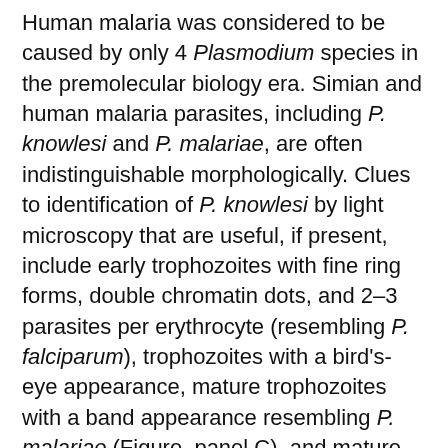Human malaria was considered to be caused by only 4 Plasmodium species in the premolecular biology era. Simian and human malaria parasites, including P. knowlesi and P. malariae, are often indistinguishable morphologically. Clues to identification of P. knowlesi by light microscopy that are useful, if present, include early trophozoites with fine ring forms, double chromatin dots, and 2–3 parasites per erythrocyte (resembling P. falciparum), trophozoites with a bird's-eye appearance, mature trophozoites with a band appearance resembling P. malariae (Figure, panel C), and mature schizonts with a higher average merozoite count (16/erythrocyte) than in P. malariae (12/erythrocyte) (2,11).
Commercially available rapid diagnostic tests do not distinguish P. knowlesi from other forms of human malaria parasites. Lactate dehydrogenase produced